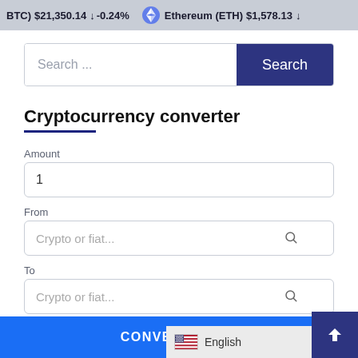BTC) $21,350.14 ↓ -0.24%  Ethereum (ETH) $1,578.13 ↓
Search ...
Cryptocurrency converter
Amount
1
From
Crypto or fiat...
To
Crypto or fiat...
CONVERT
English